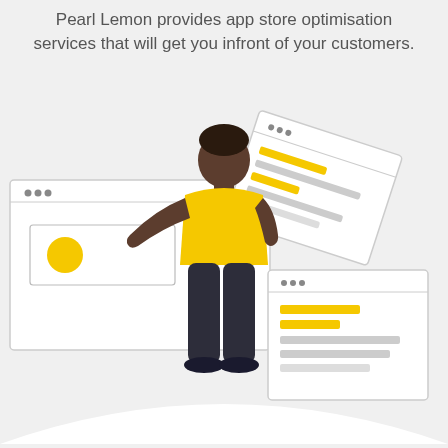Pearl Lemon provides app store optimisation services that will get you infront of your customers.
[Figure (illustration): A flat-style illustration of a dark-skinned person wearing a yellow t-shirt and dark pants, standing and interacting with browser/app windows. To the left is a large browser window with a yellow circle icon. To the upper right is a tilted browser window with yellow and grey text lines. To the lower right is another browser window with yellow and grey text lines.]